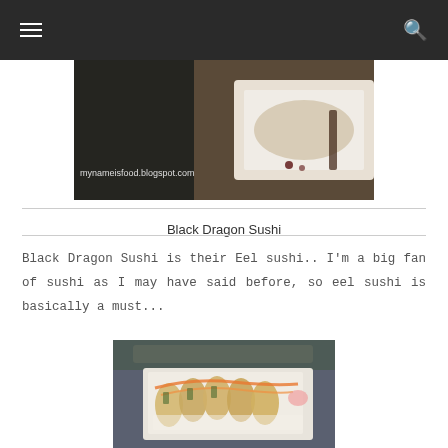navigation bar with hamburger menu and search icon
[Figure (photo): Food blog header image showing a dark background with food dish on a white plate, watermark text mynameisfood.blogspot.com]
Black Dragon Sushi
Black Dragon Sushi is their Eel sushi.. I'm a big fan of sushi as I may have said before, so eel sushi is basically a must...
[Figure (photo): Photo of Black Dragon Sushi roll on a white rectangular plate, showing eel sushi rolls with orange sauce topping, with pink ginger garnish, on a dark wooden table]